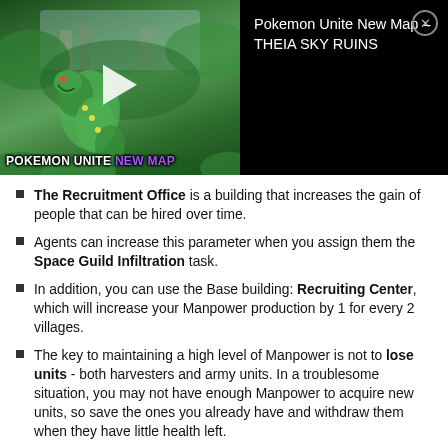[Figure (screenshot): Video thumbnail showing Pokemon Unite New Map - THEIA SKY RUINS. Left portion shows a green animated Pokemon game scene with a play button overlay and text 'POKEMON UNITE NEW MAP' (NEW MAP in purple). Right portion shows black background with white text 'Pokemon Unite New Map - THEIA SKY RUINS' and a close button.]
The Recruitment Office is a building that increases the gain of people that can be hired over time.
Agents can increase this parameter when you assign them the Space Guild Infiltration task.
In addition, you can use the Base building: Recruiting Center, which will increase your Manpower production by 1 for every 2 villages.
The key to maintaining a high level of Manpower is not to lose units - both harvesters and army units. In a troublesome situation, you may not have enough Manpower to acquire new units, so save the ones you already have and withdraw them when they have little health left.